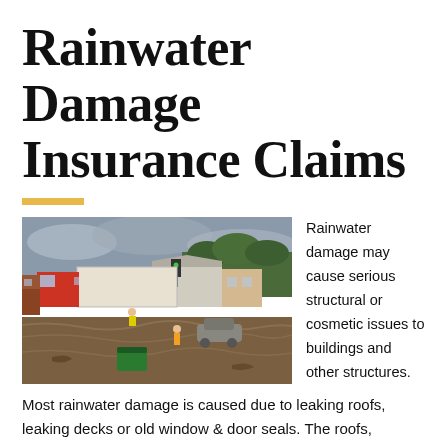Rainwater Damage Insurance Claims
[Figure (photo): Flooded street scene with a large truck/shipping container being swept by brown floodwaters, cars partially submerged, debris including a green bin floating, buildings and traffic in the background, overcast sky]
Rainwater damage may cause serious structural or cosmetic issues to buildings and other structures. Most rainwater damage is caused due to leaking roofs, leaking decks or old window & door seals. The roofs, decks, windows & doors are the places that are most vulnerable to rainwater damage.